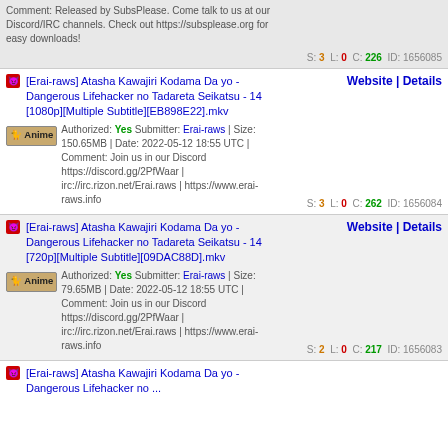Comment: Released by SubsPlease. Come talk to us at our Discord/IRC channels. Check out https://subsplease.org for easy downloads!
S: 3 L: 0 C: 226 ID: 1656085
[Erai-raws] Atasha Kawajiri Kodama Da yo - Dangerous Lifehacker no Tadareta Seikatsu - 14 [1080p][Multiple Subtitle][EB898E22].mkv
Website | Details
Authorized: Yes Submitter: Erai-raws | Size: 150.65MB | Date: 2022-05-12 18:55 UTC | Comment: Join us in our Discord https://discord.gg/2PfWaar | irc://irc.rizon.net/Erai.raws | https://www.erai-raws.info
S: 3 L: 0 C: 262 ID: 1656084
[Erai-raws] Atasha Kawajiri Kodama Da yo - Dangerous Lifehacker no Tadareta Seikatsu - 14 [720p][Multiple Subtitle][09DAC88D].mkv
Website | Details
Authorized: Yes Submitter: Erai-raws | Size: 79.65MB | Date: 2022-05-12 18:55 UTC | Comment: Join us in our Discord https://discord.gg/2PfWaar | irc://irc.rizon.net/Erai.raws | https://www.erai-raws.info
S: 2 L: 0 C: 217 ID: 1656083
[Erai-raws] Atasha Kawajiri Kodama Da yo - Dangerous Lifehacker no ...